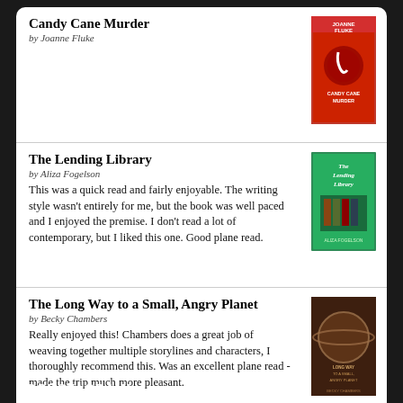Candy Cane Murder
by Joanne Fluke
[Figure (photo): Book cover of Candy Cane Murder by Joanne Fluke]
The Lending Library
by Aliza Fogelson
This was a quick read and fairly enjoyable. The writing style wasn't entirely for me, but the book was well paced and I enjoyed the premise. I don't read a lot of contemporary, but I liked this one. Good plane read.
[Figure (photo): Book cover of The Lending Library by Aliza Fogelson]
The Long Way to a Small, Angry Planet
by Becky Chambers
Really enjoyed this! Chambers does a great job of weaving together multiple storylines and characters, I thoroughly recommend this. Was an excellent plane read - made the trip much more pleasant.
[Figure (photo): Book cover of The Long Way to a Small, Angry Planet by Becky Chambers]
[Figure (logo): Goodreads logo button]
BOOKSTAGRAM!